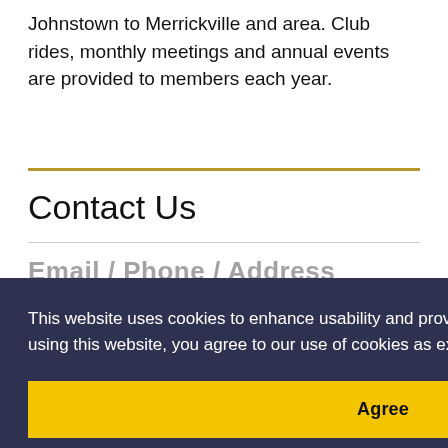Johnstown to Merrickville and area. Club rides, monthly meetings and annual events are provided to members each year.
Contact Us
This website uses cookies to enhance usability and provide you with a more personal experience. By using this website, you agree to our use of cookies as explained in our Privacy Policy.